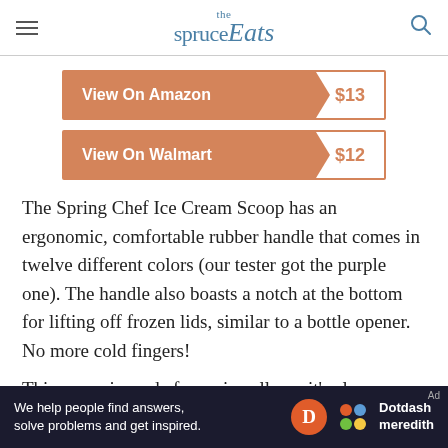the spruce Eats
View On Amazon $13
View On Walmart $12
The Spring Chef Ice Cream Scoop has an ergonomic, comfortable rubber handle that comes in twelve different colors (our tester got the purple one). The handle also boasts a notch at the bottom for lifting off frozen lids, similar to a bottle opener. No more cold fingers!
This scoop is made from zinc alloy—it's also available in stainless steel, and the 3-ounce
We help people find answers, solve problems and get inspired. Dotdash meredith